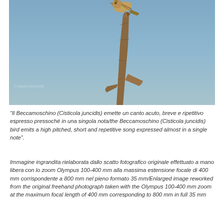[Figure (photo): A Beccamoschino (Cisticola juncidis) bird perched on top of a dead branch stub against a blue-grey sky background.]
“Il Beccamoschino (Cisticola juncidis) emette un canto acuto, breve e ripetitivo espresso pressoché in una singola nota/the Beccamoschino (Cisticola juncidis) bird emits a high pitched, short and repetitive song expressed almost in a single note”.
Immagine ingrandita rielaborata dallo scatto fotografico originale effettuato a mano libera con lo zoom Olympus 100-400 mm alla massima estensione focale di 400 mm corrispondente a 800 mm nel pieno formato 35 mm/Enlarged image reworked from the original freehand photograph taken with the Olympus 100-400 mm zoom at the maximum focal length of 400 mm corresponding to 800 mm in full 35 mm